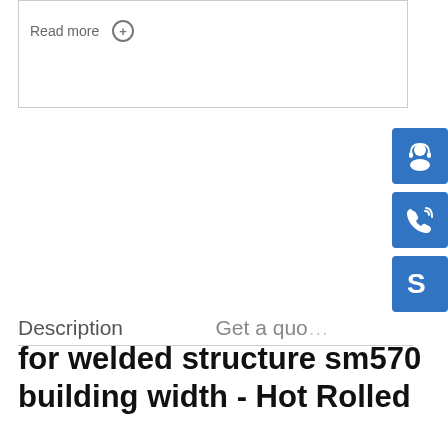Read more ⊕
[Figure (illustration): Blue button with headset/customer support icon]
[Figure (illustration): Blue button with phone/call icon]
[Figure (illustration): Blue button with Skype icon]
Description    Get a quote
for welded structure sm570 building width - Hot Rolled
for welded structure sm570 building width. Standard:ASTM, ASME, AISI, GB, JIS, DIN, EN, BS Certification:ISO, SGS, RoHS, CE, IBR Production Capacity:50000 tons Per Month Description:JIS G3106 SM570 SM 570 STEEL PLATE  Steel Supplier: JIS G3106
Processing technology...